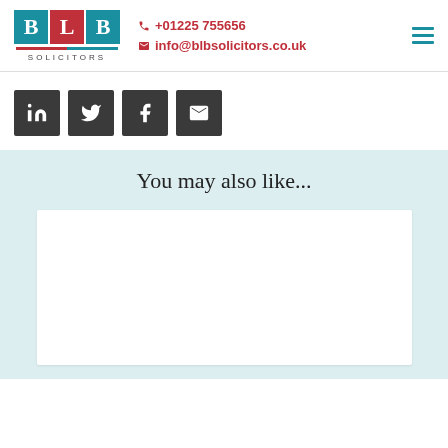[Figure (logo): BLB Solicitors logo with teal and red letter boxes and 'SOLICITORS' text below]
+01225 755656
info@blbsolicitors.co.uk
[Figure (infographic): Four dark square social media sharing buttons: LinkedIn, Twitter, Facebook, Email]
You may also like...
[Figure (other): White card placeholder in light blue background section]